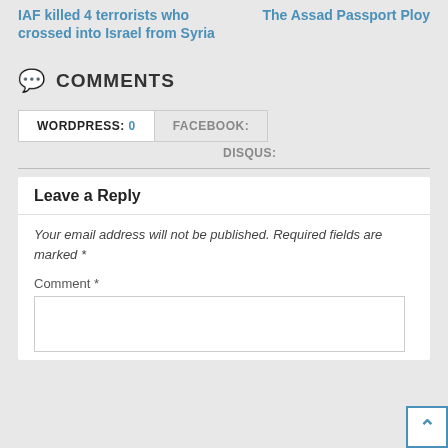IAF killed 4 terrorists who crossed into Israel from Syria
The Assad Passport Ploy
COMMENTS
WORDPRESS: 0
FACEBOOK:
DISQUS:
Leave a Reply
Your email address will not be published. Required fields are marked *
Comment *